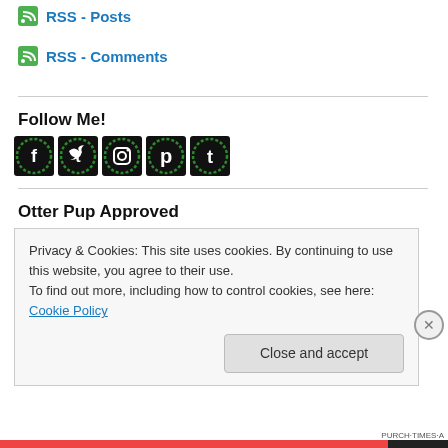RSS - Posts
RSS - Comments
Follow Me!
[Figure (illustration): Five social media icons: Facebook, Twitter, Instagram, Pinterest, Tumblr — each as a dark square with green decorative border and white letter/symbol]
Otter Pup Approved
Privacy & Cookies: This site uses cookies. By continuing to use this website, you agree to their use.
To find out more, including how to control cookies, see here: Cookie Policy
Close and accept